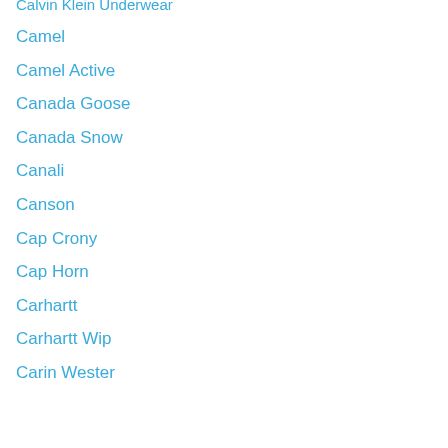Calvin Klein Underwear
Camel
Camel Active
Canada Goose
Canada Snow
Canali
Canson
Cap Crony
Cap Horn
Carhartt
Carhartt Wip
Carin Wester